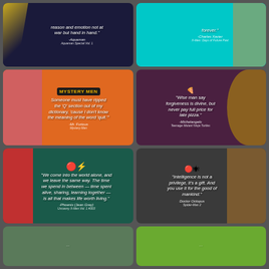[Figure (illustration): Aquaman quote card with dark navy background. Quote: 'reason and emotion not at war but hand in hand.' Attribution: -Aquaman, Aquaman Special Vol. 1]
[Figure (illustration): Charles Xavier quote card with teal/cyan background. Quote: 'forever.' Attribution: -Charles Xavier, X-Men: Days of Future Past]
[Figure (illustration): Mystery Men quote card with orange background. Title: MYSTERY MEN. Quote: 'Someone must have ripped the Q section out of my dictionary, cause I don't know the meaning of the word quit.' Attribution: -Mr. Furious, Mystery Men]
[Figure (illustration): Michelangelo quote card with dark purple background. Quote: 'Wise man say forgiveness is divine, but never pay full price for late pizza.' Attribution: -Michelangelo, Teenage Mutant Ninja Turtles]
[Figure (illustration): Phoenix Jean Grey quote card with dark teal background. X-Men logo. Quote: 'We come into the world alone, and we leave the same way. The time we spend in between - time spent alive, sharing, learning together - is all that makes life worth living.' Attribution: -Phoenix (Jean Grey), Uncanny X-Men Vol. 1 #303]
[Figure (illustration): Doctor Octopus quote card with dark gray background. Quote: 'Intelligence is not a privilege, it's a gift. And you use it for the good of mankind.' Attribution: Doctor Octopus, Spider-Man 2]
[Figure (illustration): Partial card at bottom left, teal/green textured background]
[Figure (illustration): Partial card at bottom right, bright green background]